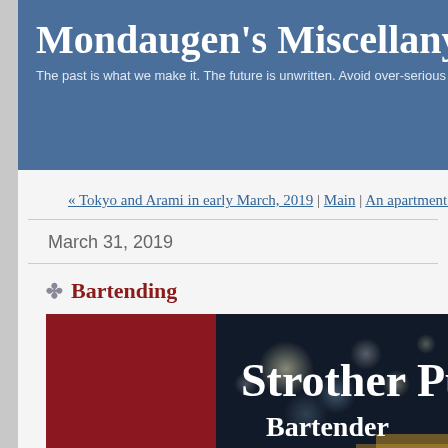Mondaugen's Miscellany
The past is what we make it. The future is unwritten. Avoid over-serious people and see...
« Tokyo and Arami in early March, 2019 | Main | An apartment full of stuf...
March 31, 2019
❧ Bartending
[Figure (photo): Banner image showing 'Strother Purc... Bartender' text over a dark bokeh background with a red panel on the left side]